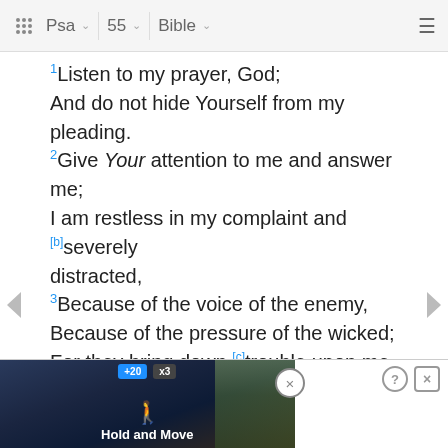Psa   55   Bible
1Listen to my prayer, God; And do not hide Yourself from my pleading. 2Give Your attention to me and answer me; I am restless in my complaint and [b]severely distracted, 3Because of the voice of the enemy, Because of the pressure of the wicked; For they bring down [c]trouble upon me And in anger they hold a grudge against me. 4My heart is in anguish within me, And the terrors of death have fallen upon me. 5Fear and trembling come upon me, And [d]horror has [e]overwhelmed me. 6...